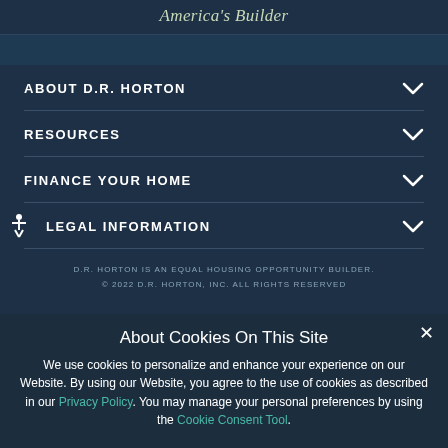America's Builder
ABOUT D.R. HORTON
RESOURCES
FINANCE YOUR HOME
LEGAL INFORMATION
D.R. HORTON IS AN EQUAL HOUSING OPPORTUNITY BUILDER.
© 2022 D.R. HORTON, INC. ALL RIGHTS RESERVED
About Cookies On This Site
We use cookies to personalize and enhance your experience on our Website. By using our Website, you agree to the use of cookies as described in our Privacy Policy. You may manage your personal preferences by using the Cookie Consent Tool.